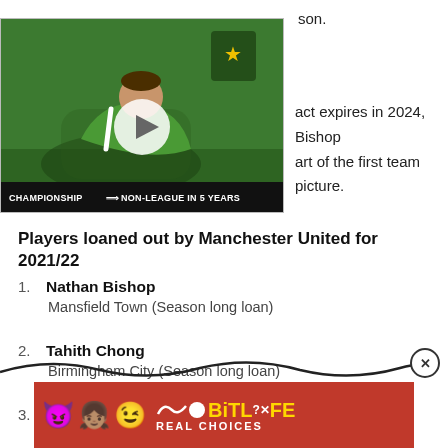son.
[Figure (screenshot): Video thumbnail showing a rugby/football player on grass with a club badge, play button overlay, and caption 'Championship → Non-League In 5 Years']
act expires in 2024, Bishop art of the first team picture.
Players loaned out by Manchester United for 2021/22
1. Nathan Bishop
    Mansfield Town (Season long loan)
2. Tahith Chong
    Birmingham City (Season long loan)
3. Di'Shon Bernard
[Figure (screenshot): BitLife advertisement banner with emojis and 'REAL CHOICES' text]